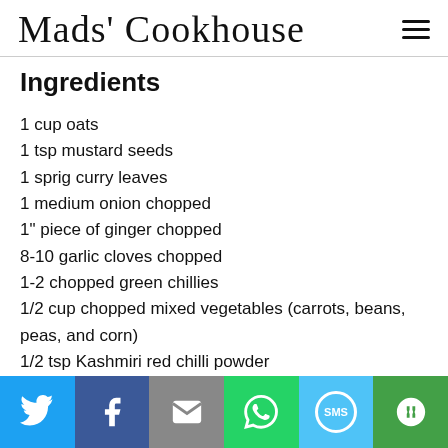Mads' Cookhouse
Ingredients
1 cup oats
1 tsp mustard seeds
1 sprig curry leaves
1 medium onion chopped
1" piece of ginger chopped
8-10 garlic cloves chopped
1-2 chopped green chillies
1/2 cup chopped mixed vegetables (carrots, beans, peas, and corn)
1/2 tsp Kashmiri red chilli powder